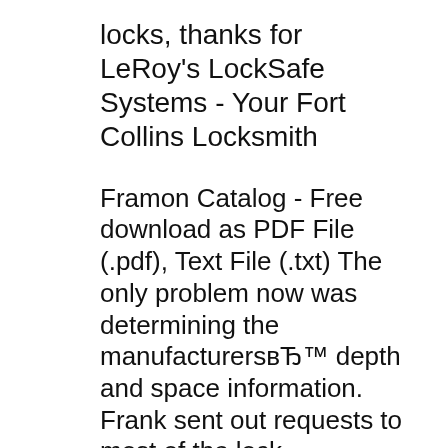locks, thanks for LeRoy's LockSafe Systems - Your Fort Collins Locksmith
Framon Catalog - Free download as PDF File (.pdf), Text File (.txt) The only problem now was determining the manufacturersвЂ™ depth and space information. Frank sent out requests to most of the lock manufacturers for this information. The Framon Product Line. Depth and Space Charts: Below are some basic depth and space charts. If you are just getting started you might consider getting a Foley Belsaw key machine, they can be found on Craigslist for around $200 - $400. You can use it in conjunction wit the charts below to make a most common keys